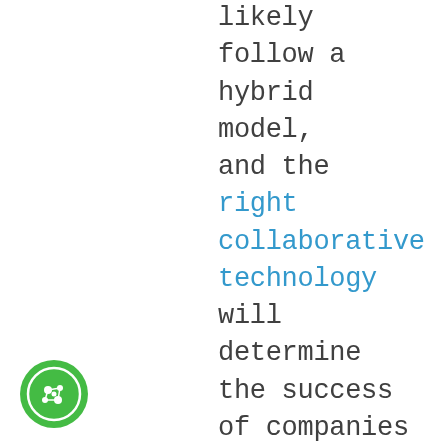likely follow a hybrid model, and the right collaborative technology will determine the success of companies going forward.

So, what will this new productivity paradigm look like? To encourage the highest levels of productivity and innovation from your employees, it's important to understand the factors that go into each element of success, as well as the ways to implement them in your
[Figure (illustration): Green circular cookie/settings icon with white cookie symbol in bottom-left corner]